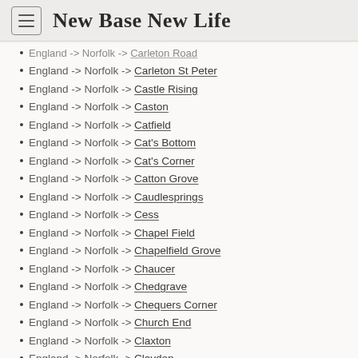New Base New Life
England -> Norfolk -> Carleton Road (truncated/partial)
England -> Norfolk -> Carleton St Peter
England -> Norfolk -> Castle Rising
England -> Norfolk -> Caston
England -> Norfolk -> Catfield
England -> Norfolk -> Cat's Bottom
England -> Norfolk -> Cat's Corner
England -> Norfolk -> Catton Grove
England -> Norfolk -> Caudlesprings
England -> Norfolk -> Cess
England -> Norfolk -> Chapel Field
England -> Norfolk -> Chapelfield Grove
England -> Norfolk -> Chaucer
England -> Norfolk -> Chedgrave
England -> Norfolk -> Chequers Corner
England -> Norfolk -> Church End
England -> Norfolk -> Claxton
England -> Norfolk -> Claydon
England -> Norfolk -> Clenchwarton (partial)